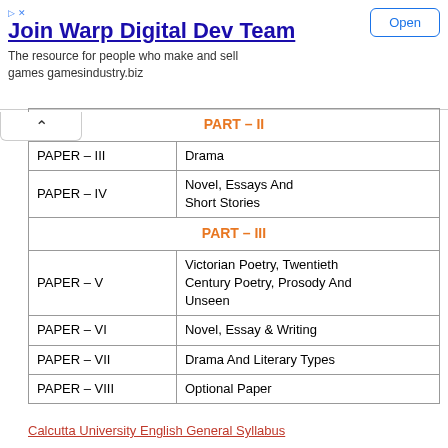[Figure (screenshot): Advertisement banner for 'Join Warp Digital Dev Team' with Open button]
| Paper | Subject |
| --- | --- |
| PART – II |  |
| PAPER – III | Drama |
| PAPER – IV | Novel, Essays And Short Stories |
| PART – III |  |
| PAPER – V | Victorian Poetry, Twentieth Century Poetry, Prosody And Unseen |
| PAPER – VI | Novel, Essay & Writing |
| PAPER – VII | Drama And Literary Types |
| PAPER – VIII | Optional Paper |
Calcutta University English General Syllabus